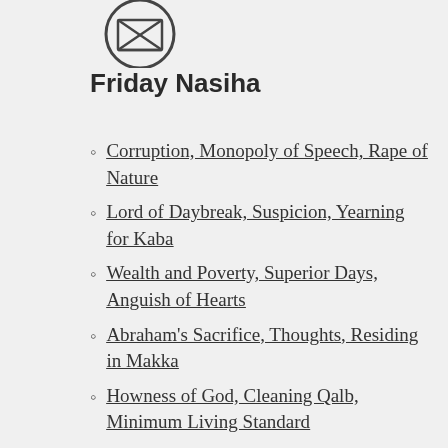[Figure (logo): An envelope icon with an X or crossed lines pattern on it, inside a circle]
Friday Nasiha
Corruption, Monopoly of Speech, Rape of Nature
Lord of Daybreak, Suspicion, Yearning for Kaba
Wealth and Poverty, Superior Days, Anguish of Hearts
Abraham's Sacrifice, Thoughts, Residing in Makka
Howness of God, Cleaning Qalb, Minimum Living Standard
Beneficial and Logical,